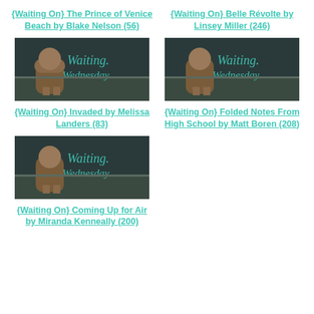{Waiting On} The Prince of Venice Beach by Blake Nelson (56)
{Waiting On} Belle Révolte by Linsey Miller (246)
[Figure (photo): Waiting Wednesday blog image showing a small teddy bear looking out a window with cursive 'Waiting Wednesday' text overlay in teal]
[Figure (photo): Waiting Wednesday blog image showing a small teddy bear looking out a window with cursive 'Waiting Wednesday' text overlay in teal]
{Waiting On} Invaded by Melissa Landers (83)
{Waiting On} Folded Notes From High School by Matt Boren (208)
[Figure (photo): Waiting Wednesday blog image showing a small teddy bear looking out a window with cursive 'Waiting Wednesday' text overlay in teal]
{Waiting On} Coming Up for Air by Miranda Kenneally (200)